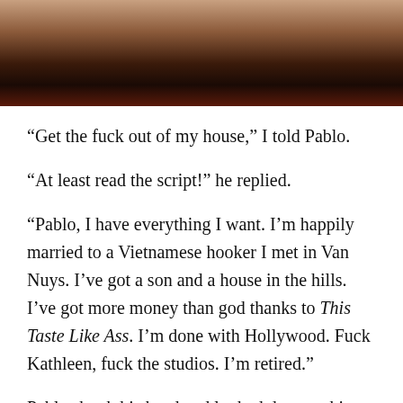[Figure (photo): Close-up photo of a hand against a dark red/brown background, cropped at top of page]
“Get the fuck out of my house,” I told Pablo.
“At least read the script!” he replied.
“Pablo, I have everything I want. I’m happily married to a Vietnamese hooker I met in Van Nuys. I’ve got a son and a house in the hills. I’ve got more money than god thanks to This Taste Like Ass. I’m done with Hollywood. Fuck Kathleen, fuck the studios. I’m retired.”
Pablo shook his head and looked down at his beer. “You know what they say about you?” he asked. “They say you’re a one-hit wonder. That you got lucky with This